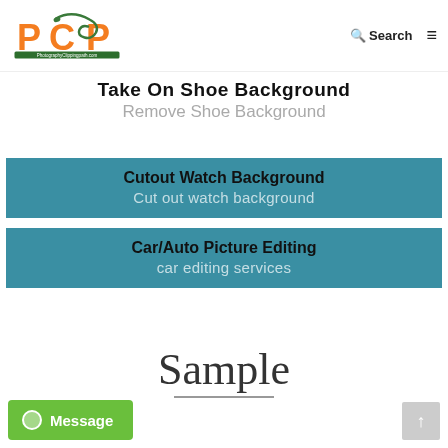[Figure (logo): PCP PhotographyClippingpath.com logo with orange letters and green snake graphic]
Search (hamburger menu)
Take On Shoe Background
Remove Shoe Background
Cutout Watch Background
Cut out watch background
Car/Auto Picture Editing
car editing services
Sample
Message